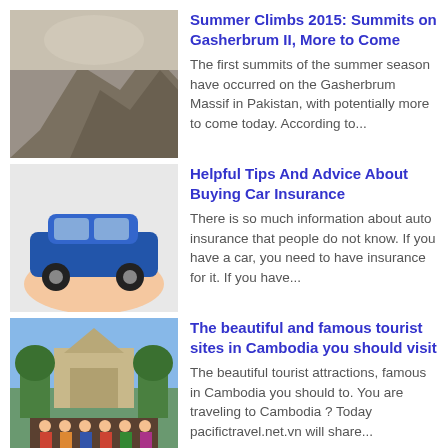[Figure (photo): Grayscale image of a rocky mountain summit]
Summer Climbs 2015: Summits on Gasherbrum II, More to Come
The first summits of the summer season have occurred on the Gasherbrum Massif in Pakistan, with potentially more to come today. According to...
[Figure (photo): Blue toy car held on a hand]
Helpful Tips And Advice About Buying Car Insurance
There is so much information about auto insurance that people do not know. If you have a car, you need to have insurance for it. If you have...
[Figure (photo): Group of people in traditional dress in front of Angkor Wat temple, Cambodia]
The beautiful and famous tourist sites in Cambodia you should visit
The beautiful tourist attractions, famous in Cambodia you should to. You are traveling to Cambodia ? Today pacifictravel.net.vn will share...
Nine South Estates
Vietnam News
Adventure Travel